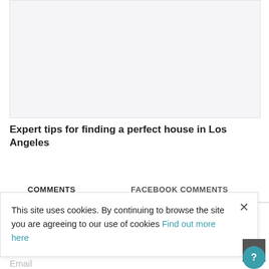[Figure (photo): Placeholder image area for an article about finding a house in Los Angeles]
Expert tips for finding a perfect house in Los Angeles
COMMENTS
FACEBOOK COMMENTS
Name
Email
This site uses cookies. By continuing to browse the site you are agreeing to our use of cookies Find out more here